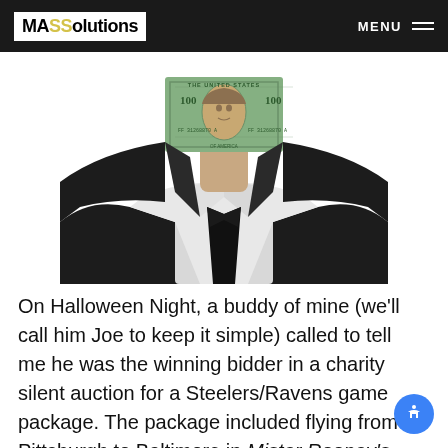MASSolutions  MENU
[Figure (photo): Man in a dark suit with a $100 dollar bill covering his face, photographed from the chest up against a white background.]
On Halloween Night, a buddy of mine (we'll call him Joe to keep it simple) called to tell me he was the winning bidder in a charity silent auction for a Steelers/Ravens game package. The package included flying from Pittsburgh to Baltimore in Mister Rooney's, let, limo service from the airport